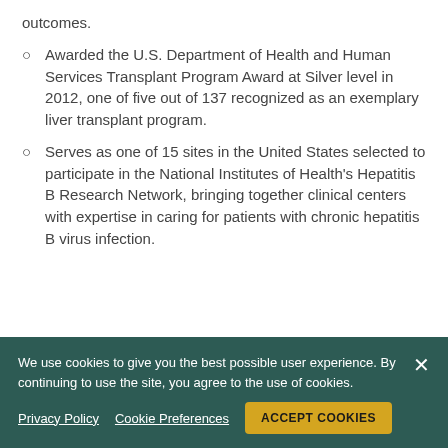outcomes.
Awarded the U.S. Department of Health and Human Services Transplant Program Award at Silver level in 2012, one of five out of 137 recognized as an exemplary liver transplant program.
Serves as one of 15 sites in the United States selected to participate in the National Institutes of Health's Hepatitis B Research Network, bringing together clinical centers with expertise in caring for patients with chronic hepatitis B virus infection.
Acute Liver Failure Support
We use cookies to give you the best possible user experience. By continuing to use the site, you agree to the use of cookies.
Privacy Policy   Cookie Preferences   ACCEPT COOKIES